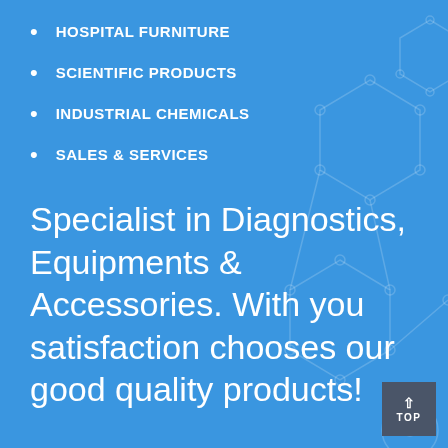HOSPITAL FURNITURE
SCIENTIFIC PRODUCTS
INDUSTRIAL CHEMICALS
SALES & SERVICES
Specialist in Diagnostics, Equipments & Accessories. With you satisfaction chooses our good quality products!